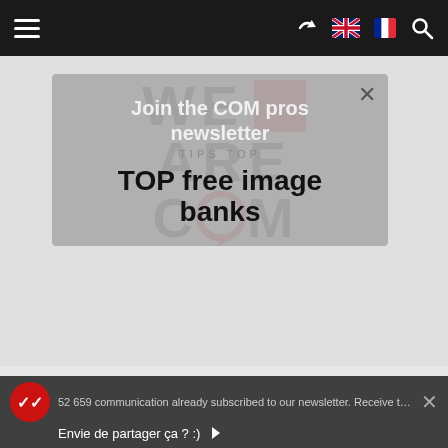Navigation bar with hamburger menu, share icon, UK flag, French flag, and search icon
[Figure (logo): We Are Com logo: WE with red square, ARE, COM with red speech-bubble O circle]
[Figure (screenshot): Modal overlay with close X button. Text: 'Join the COM pros newsletter', 'TIPS TOP', 'TOP free image banks']
Join the COM pros newsletter
TIPS TOP
TOP free image banks
52 659 communication already subscribed to our newsletter. Receive the best of business
Envie de partager ça ? :)